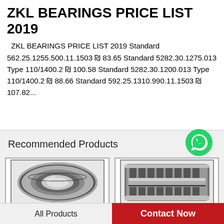ZKL BEARINGS PRICE LIST 2019
ZKL BEARINGS PRICE LIST 2019 Standard 562.25.1255.500.11.1503 ₪ 83.65 Standard 5282.30.1275.013 Type 110/1400.2 ₪ 100.58 Standard 5282.30.1200.013 Type 110/1400.2 ₪ 88.66 Standard 592.25.1310.990.11.1503 ₪ 107.82...
Recommended Products
[Figure (illustration): WhatsApp Online green logo circle with phone icon]
[Figure (photo): Left bearing product photo - spherical insert bearing, close-up showing inner ring and ball groove]
[Figure (photo): Right bearing product photo - cylindrical roller bearing showing rollers and cage]
All Products
Contact Now